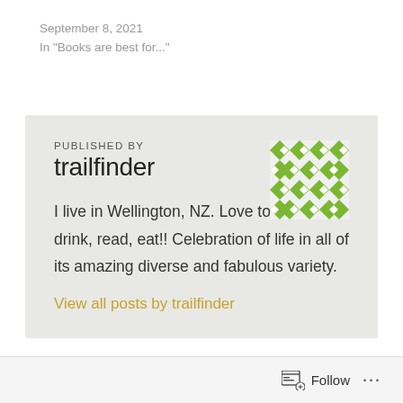September 8, 2021
In "Books are best for..."
PUBLISHED BY
trailfinder
[Figure (illustration): Green and white geometric/diamond pattern avatar image for trailfinder]
I live in Wellington, NZ. Love to travel, eat, drink, read, eat!! Celebration of life in all of its amazing diverse and fabulous variety.
View all posts by trailfinder
Follow ...